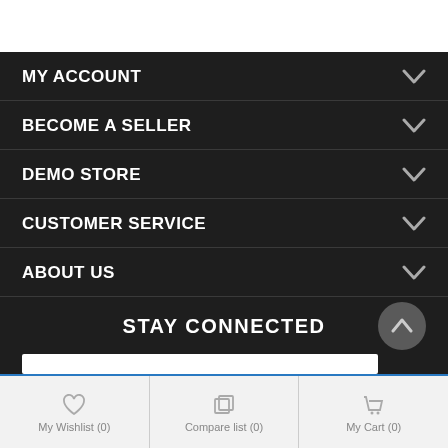MY ACCOUNT
BECOME A SELLER
DEMO STORE
CUSTOMER SERVICE
ABOUT US
STAY CONNECTED
My Wishlist (0)  Compare list (0)  My Cart (0)